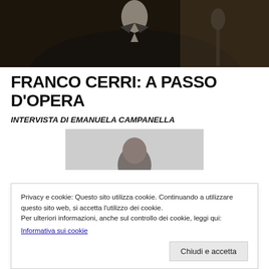[Figure (photo): Top portion of a black-and-white/dark photo showing a musician in formal attire (tuxedo) with a microphone stand visible on the right]
FRANCO CERRI: A PASSO D'OPERA
INTERVISTA DI EMANUELA CAMPANELLA
[Figure (photo): Portrait photo of a person (partially visible) against a light grey background]
Privacy e cookie: Questo sito utilizza cookie. Continuando a utilizzare questo sito web, si accetta l'utilizzo dei cookie.
Per ulteriori informazioni, anche sul controllo dei cookie, leggi qui:
Informativa sui cookie
Chiudi e accetta